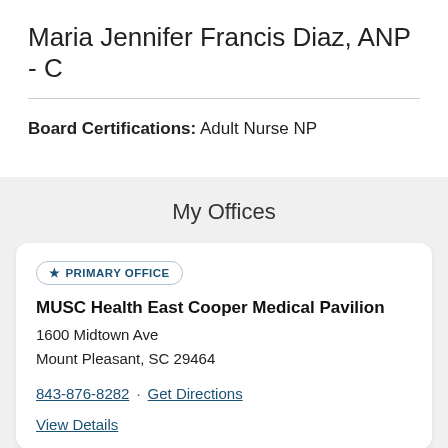Maria Jennifer Francis Diaz, ANP - C
Board Certifications: Adult Nurse NP
My Offices
★ PRIMARY OFFICE
MUSC Health East Cooper Medical Pavilion
1600 Midtown Ave
Mount Pleasant, SC 29464
843-876-8282 · Get Directions
View Details